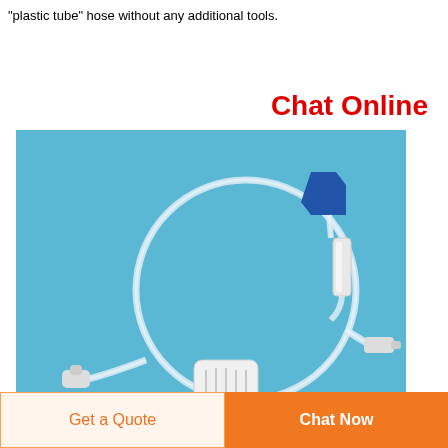"plastic tube" hose without any additional tools.
Chat Online
[Figure (photo): Medical plastic tube hose / catheter assembly with clear tubing looped in a circle, a blue connector at the top right, a white cylindrical filter or clamp, a white hub component at the bottom center, and two small connectors at each end, all on a light blue background.]
Get a Quote
Chat Now